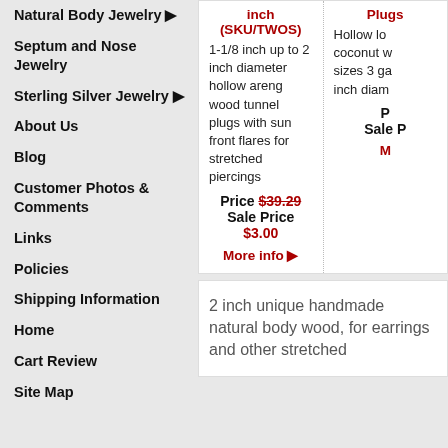Natural Body Jewelry ▶
Septum and Nose Jewelry
Sterling Silver Jewelry ▶
About Us
Blog
Customer Photos & Comments
Links
Policies
Shipping Information
Home
Cart Review
Site Map
inch (SKU/TWOS) - 1-1/8 inch up to 2 inch diameter hollow areng wood tunnel plugs with sun front flares for stretched piercings. Price $39.29. Sale Price $3.00. More info ▶
Plugs - Hollow lo... coconut w... sizes 3 ga... inch diam... Sale P... More info
2 inch unique handmade natural body wood, for earrings and other stretched